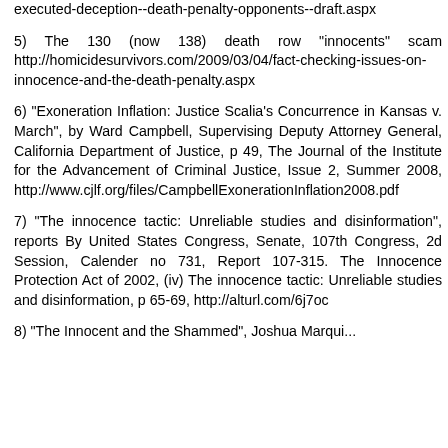executed-deception--death-penalty-opponents--draft.aspx
5) The 130 (now 138) death row "innocents" scam http://homicidesurvivors.com/2009/03/04/fact-checking-issues-on-innocence-and-the-death-penalty.aspx
6) "Exoneration Inflation: Justice Scalia's Concurrence in Kansas v. March", by Ward Campbell, Supervising Deputy Attorney General, California Department of Justice, p 49, The Journal of the Institute for the Advancement of Criminal Justice, Issue 2, Summer 2008, http://www.cjlf.org/files/CampbellExonerationInflation2008.pdf
7) "The innocence tactic: Unreliable studies and disinformation", reports By United States Congress, Senate, 107th Congress, 2d Session, Calender no 731, Report 107-315. The Innocence Protection Act of 2002, (iv) The innocence tactic: Unreliable studies and disinformation, p 65-69, http://alturl.com/6j7oc
8) "The Innocent and the Shammed", Joshua Marqui...